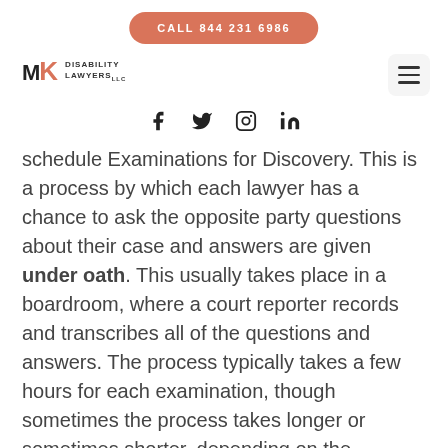CALL 844 231 6986
[Figure (logo): MK Disability Lawyers LLC logo with hamburger menu and social media icons (Facebook, Twitter, Instagram, LinkedIn)]
schedule Examinations for Discovery. This is a process by which each lawyer has a chance to ask the opposite party questions about their case and answers are given under oath. This usually takes place in a boardroom, where a court reporter records and transcribes all of the questions and answers. The process typically takes a few hours for each examination, though sometimes the process takes longer or sometimes shorter, depending on the particulars of the case, the lawyers involved and the parties' ability to